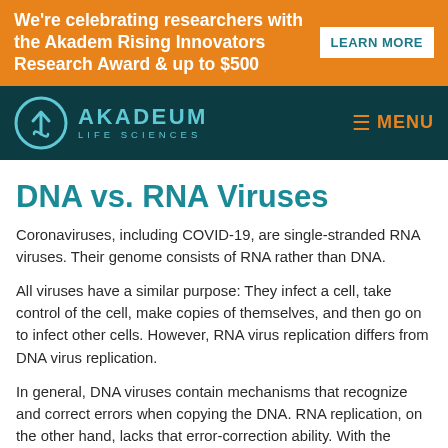We're celebrating researchers with the Akadem Rising Innovators Research Award & up to $500 LEARN MORE
[Figure (logo): Akadem Life Sciences logo with teal circle/arrow icon and nav bar with orange MENU]
DNA vs. RNA Viruses
Coronaviruses, including COVID-19, are single-stranded RNA viruses. Their genome consists of RNA rather than DNA.
All viruses have a similar purpose: They infect a cell, take control of the cell, make copies of themselves, and then go on to infect other cells. However, RNA virus replication differs from DNA virus replication.
In general, DNA viruses contain mechanisms that recognize and correct errors when copying the DNA. RNA replication, on the other hand, lacks that error-correction ability. With the